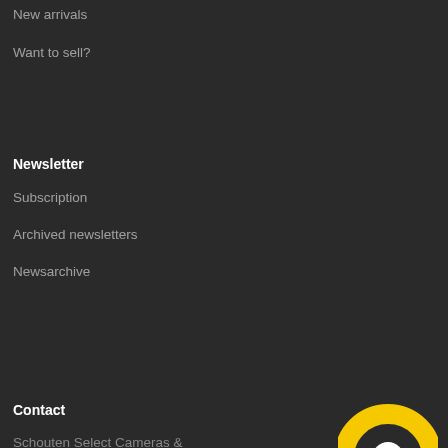New arrivals
Want to sell?
Hasselblad
Canon
Rollei
Linhof
Newsletter
Customer support
Subscription
Archived newsletters
Newsarchive
Company backround
Mail us
Contact
Payment options
Shipping
Terms and Conditions
Disclaimer
Privacy
Contact
Schouten Select Cameras &
[Figure (logo): Yellow circular logo partially visible at bottom right]